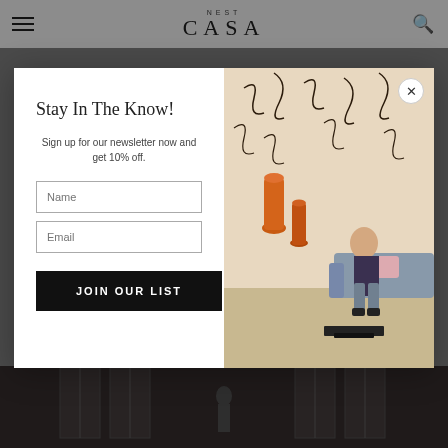NEST CASA
[Figure (screenshot): Website screenshot of Nest Casa with newsletter signup modal overlay. Left panel shows 'Stay In The Know!' heading, subtitle 'Sign up for our newsletter now and get 10% off.', Name and Email input fields, and JOIN OUR LIST button. Right panel shows photo of woman sitting in decorated interior with patterned curtains and orange vases. Close button (X) in top right of modal.]
[Figure (photo): Dark interior photograph strip at bottom showing a room with tall windows and a figure/statue silhouette]